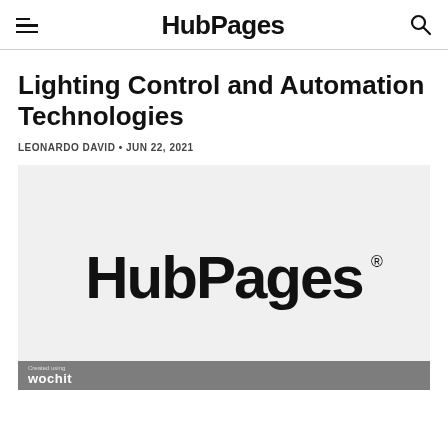HubPages
Lighting Control and Automation Technologies
LEONARDO DAVID • JUN 22, 2021
[Figure (logo): HubPages logo on a light gray background with 'Created using wochit' watermark at the bottom left]